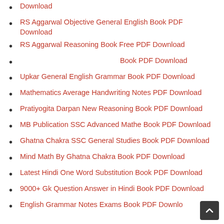Download
RS Aggarwal Objective General English Book PDF Download
RS Aggarwal Reasoning Book Free PDF Download
Book PDF Download
Upkar General English Grammar Book PDF Download
Mathematics Average Handwriting Notes PDF Download
Pratiyogita Darpan New Reasoning Book PDF Download
MB Publication SSC Advanced Mathe Book PDF Download
Ghatna Chakra SSC General Studies Book PDF Download
Mind Math By Ghatna Chakra Book PDF Download
Latest Hindi One Word Substitution Book PDF Download
9000+ Gk Question Answer in Hindi Book PDF Download
English Grammar Notes Exams Book PDF Download